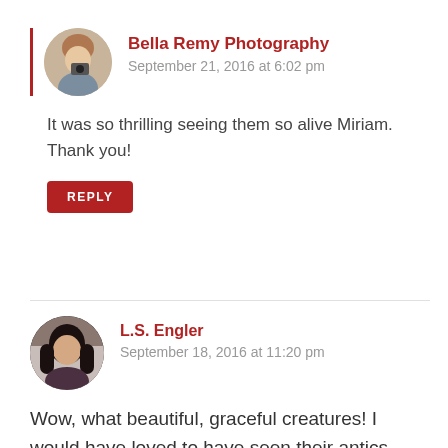Bella Remy Photography
September 21, 2016 at 6:02 pm
It was so thrilling seeing them so alive Miriam. Thank you!
REPLY
L.S. Engler
September 18, 2016 at 11:20 pm
Wow, what beautiful, graceful creatures! I would have loved to have seen their antics starting the chain reaction with the cheetahs. It sounds like it would have been really neat to witness.
REPLY